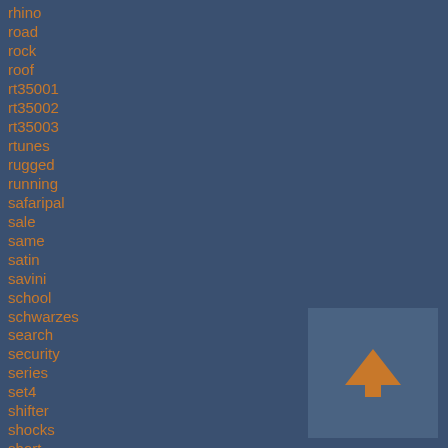rhino
road
rock
roof
rt35001
rt35002
rt35003
rtunes
rugged
running
safaripal
sale
same
satin
savini
school
schwarzes
search
security
series
set4
shifter
shocks
short
sickspeed
side
sierra
[Figure (other): Back to top button with upward pointing chevron arrow in orange on a steel blue background]